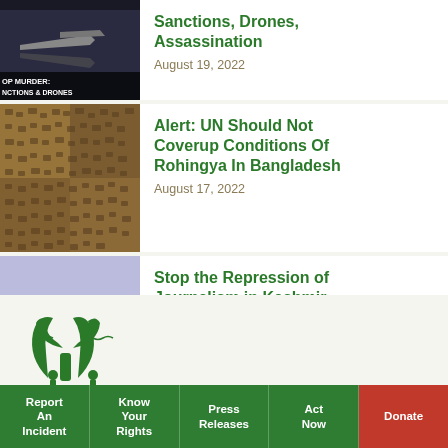[Figure (photo): Dark image with fighter jets, text overlay reading 'OP MURDER: NCTIONS & DRONES']
Sanctions, Drones, Assassination
August 19, 2022
[Figure (photo): Aerial photo of dense refugee camp - Rohingya camp in Bangladesh]
Alert: UN Should Not Coverup Conditions Of Rohingya In Bangladesh
August 17, 2022
[Figure (photo): Protesters holding signs reading 'FREEDOM OF PRESS UNDER THREAT IN KASHMIR']
Stop the Repression of Journalism in Kashmir
August 15, 2022
[Figure (logo): Green tree/figure logo of human rights organization]
Report An Incident
Know Your Rights
Press Releases
Act Now
Donate